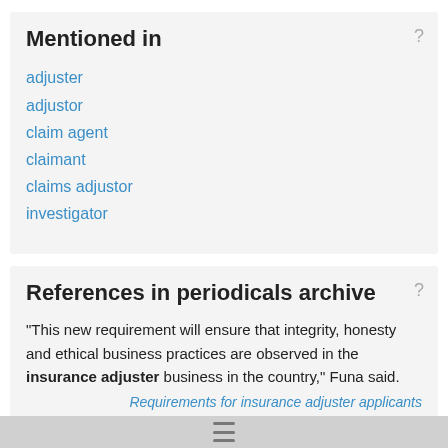Mentioned in
adjuster
adjustor
claim agent
claimant
claims adjustor
investigator
References in periodicals archive
"This new requirement will ensure that integrity, honesty and ethical business practices are observed in the insurance adjuster business in the country," Funa said.
Requirements for insurance adjuster applicants
Raoul said scammers often take the form of an insurance adjuster, going door to door offering advice as to how homeowners can obtain insurance money for home repairs.